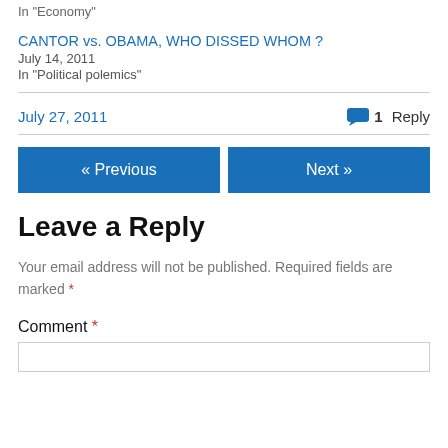In "Economy"
CANTOR vs. OBAMA, WHO DISSED WHOM ?
July 14, 2011
In "Political polemics"
July 27, 2011
1 Reply
« Previous
Next »
Leave a Reply
Your email address will not be published. Required fields are marked *
Comment *